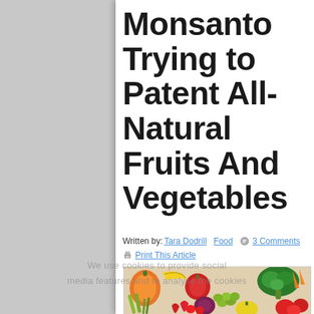Monsanto Trying to Patent All-Natural Fruits And Vegetables
Written by: Tara Dodrill   Food   3 Comments   Print This Article
[Figure (photo): A colorful assortment of fresh fruits and vegetables including bell peppers, apples, grapes, tomatoes, broccoli, and carrots piled together]